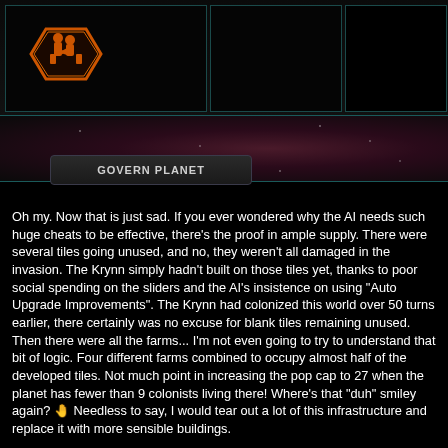[Figure (screenshot): Game screenshot showing a planetary management UI with a hexagonal orange icon, dark panel cells with teal borders, a space/nebula background strip, and a 'Govern Planet' button with dark styling.]
Oh my. Now that is just sad. If you ever wondered why the AI needs such huge cheats to be effective, there's the proof in ample supply. There were several tiles going unused, and no, they weren't all damaged in the invasion. The Krynn simply hadn't built on those tiles yet, thanks to poor social spending on the sliders and the AI's insistence on using "Auto Upgrade Improvements". The Krynn had colonized this world over 50 turns earlier, there certainly was no excuse for blank tiles remaining unused. Then there were all the farms... I'm not even going to try to understand that bit of logic. Four different farms combined to occupy almost half of the developed tiles. Not much point in increasing the pop cap to 27 when the planet has fewer than 9 colonists living there! Where's that "duh" smiley again? 👋 Needless to say, I would tear out a lot of this infrastructure and replace it with more sensible buildings.